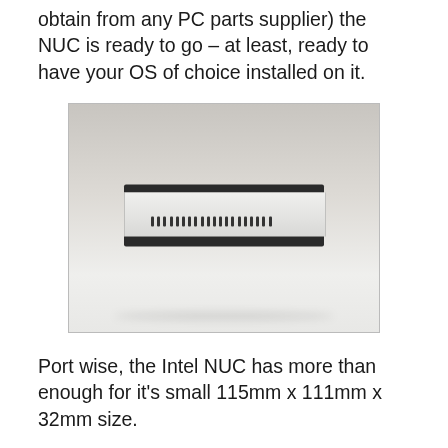obtain from any PC parts supplier) the NUC is ready to go – at least, ready to have your OS of choice installed on it.
[Figure (photo): Front view of an Intel NUC mini PC, a small white rectangular device sitting on a white surface with a gray background. The device has a black top strip, ventilation slots on the front, and a black bottom strip.]
Port wise, the Intel NUC has more than enough for it's small 115mm x 111mm x 32mm size.
Front: USB 3.0, USB 3.0 + charging, Audio In/Out 3.5mm jack, Power light, Infrared sensor
Right: Kensington lock, SDXC Card Slot